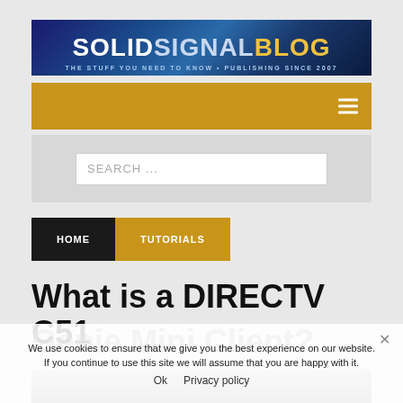[Figure (logo): Solid Signal Blog logo banner — blue gradient background with white SOLID, light-blue SIGNAL, and gold BLOG text, with tagline THE STUFF YOU NEED TO KNOW • PUBLISHING SINCE 2007]
[Figure (screenshot): Gold navigation bar with hamburger menu icon on right]
[Figure (screenshot): Search box with placeholder text SEARCH ...]
HOME
TUTORIALS
What is a DIRECTV C51 Genie Mini Client?
We use cookies to ensure that we give you the best experience on our website. If you continue to use this site we will assume that you are happy with it.
Ok   Privacy policy
[Figure (photo): Partial view of a gray DIRECTV C51 Genie Mini Client device at bottom of page]